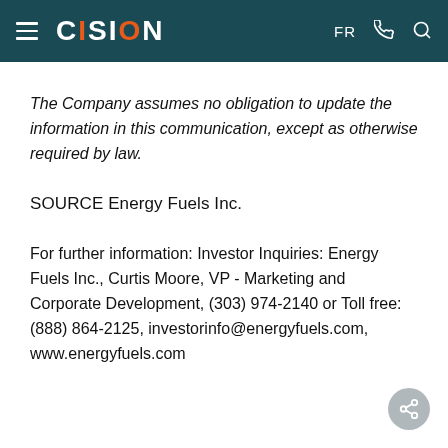CISION — FR
The Company assumes no obligation to update the information in this communication, except as otherwise required by law.
SOURCE Energy Fuels Inc.
For further information: Investor Inquiries: Energy Fuels Inc., Curtis Moore, VP - Marketing and Corporate Development, (303) 974-2140 or Toll free: (888) 864-2125, investorinfo@energyfuels.com, www.energyfuels.com